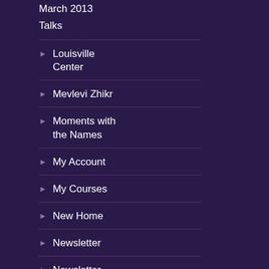March 2013 Talks
Louisville Center
Mevlevi Zhikr
Moments with the Names
My Account
My Courses
New Home
Newsletter
Newsletter Archive